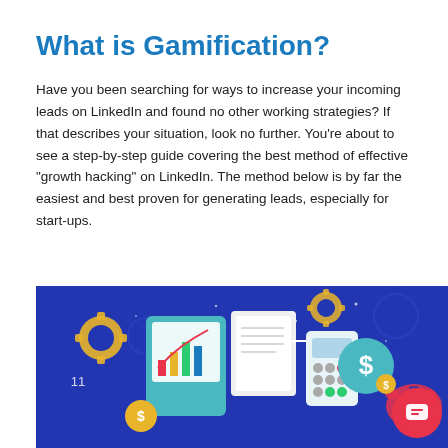What is Gamification?
Have you been searching for ways to increase your incoming leads on LinkedIn and found no other working strategies? If that describes your situation, look no further. You're about to see a step-by-step guide covering the best method of effective “growth hacking” on LinkedIn. The method below is by far the easiest and best proven for generating leads, especially for start-ups.
[Figure (illustration): Blue background illustration showing gamification/business concept icons including gears, charts, a calculator, coins, a piggy bank, and a dollar sign bubble, representing growth and business analytics.]